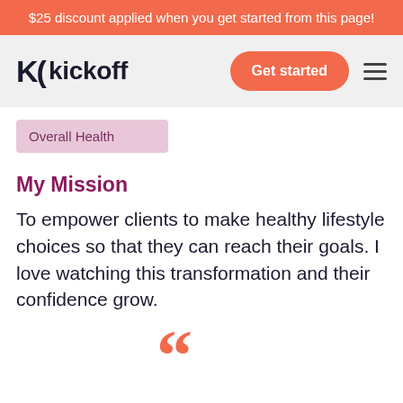$25 discount applied when you get started from this page!
[Figure (logo): Kickoff logo with stylized K icon and wordmark 'kickoff' in bold dark text, with an orange 'Get started' button and hamburger menu icon]
Overall Health
My Mission
To empower clients to make healthy lifestyle choices so that they can reach their goals. I love watching this transformation and their confidence grow.
[Figure (illustration): Large orange opening quotation marks at the bottom of the page]